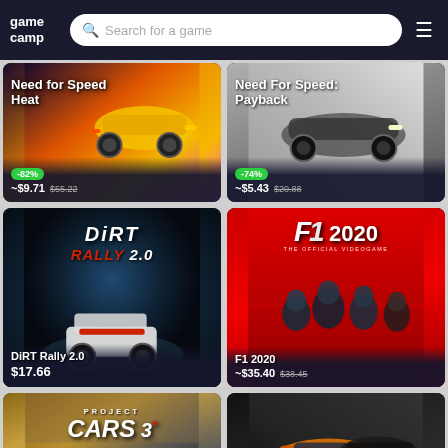game camp — Search for a game
[Figure (screenshot): Need for Speed Heat game card with yellow sports car, -82% discount badge, price ~$9.71, original $55.22]
[Figure (screenshot): Need For Speed: Payback game card with sports car, -74% discount badge, price ~$5.43, original $20.88]
[Figure (screenshot): DiRT Rally 2.0 game card with rally car, price $17.66]
[Figure (screenshot): F1 2020 game card with F1 drivers, price ~$35.40, original $38.45]
[Figure (screenshot): Project Cars 3 game card, partially visible]
[Figure (screenshot): Racing game card with orange sports car, partially visible]